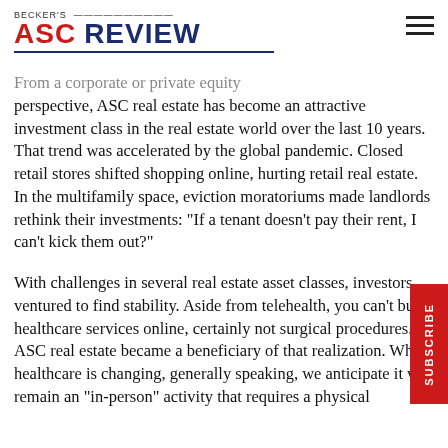BECKER'S ASC REVIEW
From a corporate or private equity perspective, ASC real estate has become an attractive investment class in the real estate world over the last 10 years. That trend was accelerated by the global pandemic. Closed retail stores shifted shopping online, hurting retail real estate. In the multifamily space, eviction moratoriums made landlords rethink their investments: "If a tenant doesn't pay their rent, I can't kick them out?"
With challenges in several real estate asset classes, investors ventured to find stability. Aside from telehealth, you can't buy healthcare services online, certainly not surgical procedures. So ASC real estate became a beneficiary of that realization. While healthcare is changing, generally speaking, we anticipate it will remain an "in-person" activity that requires a physical